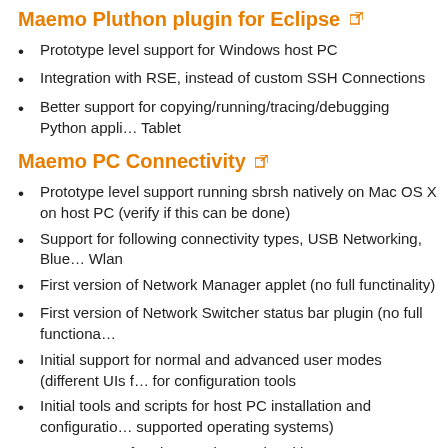Maemo Pluthon plugin for Eclipse
Prototype level support for Windows host PC
Integration with RSE, instead of custom SSH Connections
Better support for copying/running/tracing/debugging Python appli… Tablet
Maemo PC Connectivity
Prototype level support running sbrsh natively on Mac OS X on host PC (verify if this can be done)
Support for following connectivity types, USB Networking, Blue… Wlan
First version of Network Manager applet (no full functinality)
First version of Network Switcher status bar plugin (no full functiona…
Initial support for normal and advanced user modes (different UIs f… for configuration tools
Initial tools and scripts for host PC installation and configuratio… supported operating systems)
VNC support for Linux and SDK virtual image
X-tunneling support for Linux and SDK virtual image
New features for Alpha 1 release (2.0.0M1,…